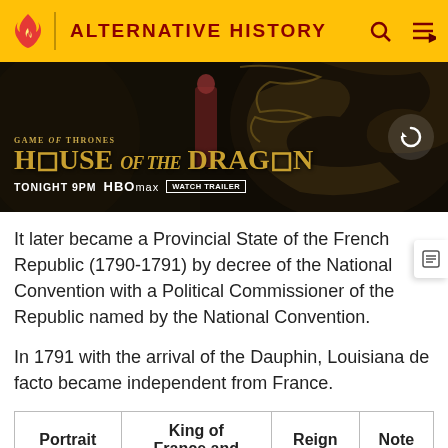ALTERNATIVE HISTORY
[Figure (screenshot): House of the Dragon HBO Max advertisement banner. Dark cave/dragon background with a figure in red. Text reads: GAME OF THRONES HOUSE OF THE DRAGON TONIGHT 9PM HBO max WATCH TRAILER]
It later became a Provincial State of the French Republic (1790-1791) by decree of the National Convention with a Political Commissioner of the Republic named by the National Convention.
In 1791 with the arrival of the Dauphin, Louisiana de facto became independent from France.
| Portrait | King of France and | Reign | Note |
| --- | --- | --- | --- |